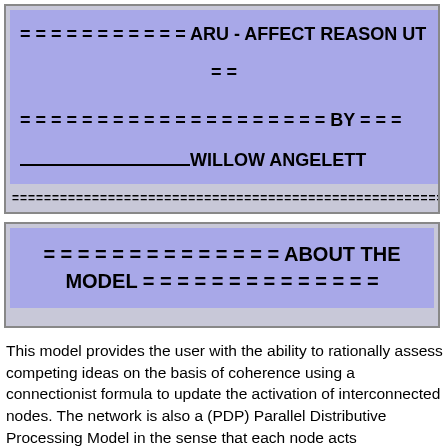= = = = = = = = = = = ARU - AFFECT REASON UT = = BY = = WILLOW ANGELETT
= = = = = = = = = = = = = = ABOUT THE MODEL = = = = = = = = = = = = = =
This model provides the user with the ability to rationally assess competing ideas on the basis of coherence using a connectionist formula to update the activation of interconnected nodes. The network is also a (PDP) Parallel Distributive Processing Model in the sense that each node acts independently and simultaneously* to update its activation with information about only those nodes with which it is immediately connected.